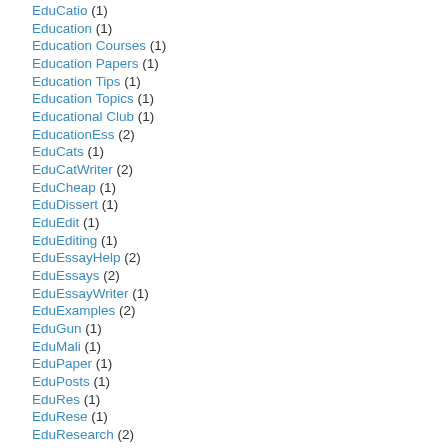EduCatio (1)
Education (1)
Education Courses (1)
Education Papers (1)
Education Tips (1)
Education Topics (1)
Educational Club (1)
EducationEss (2)
EduCats (1)
EduCatWriter (2)
EduCheap (1)
EduDissert (1)
EduEdit (1)
EduEditing (1)
EduEssayHelp (2)
EduEssays (2)
EduEssayWriter (1)
EduExamples (2)
EduGun (1)
EduMali (1)
EduPaper (1)
EduPosts (1)
EduRes (1)
EduRese (1)
EduResearch (2)
EduTermPaper (1)
EduThesis (1)
EduTips (3)